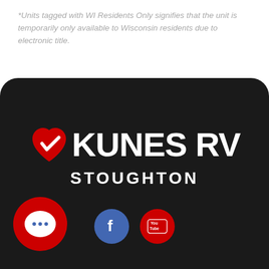*Units tagged with WI Residents Only signifies that the unit is temporarily only available to Wisconsin residents due to electronic title.
[Figure (logo): Kunes RV Stoughton logo with red heart/checkmark icon, white bold text 'KUNES RV' and subtitle 'STOUGHTON']
[Figure (illustration): Social media icons: Facebook (blue circle with 'f'), YouTube (red circle with 'You Tube' text), and a red chat bubble button with white speech bubble icon on bottom left]